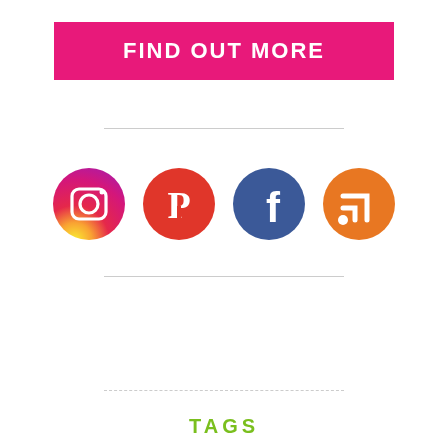FIND OUT MORE
[Figure (illustration): Four social media icon circles: Instagram (pink/red gradient), Pinterest (red), Facebook (navy blue), RSS (orange)]
TAGS